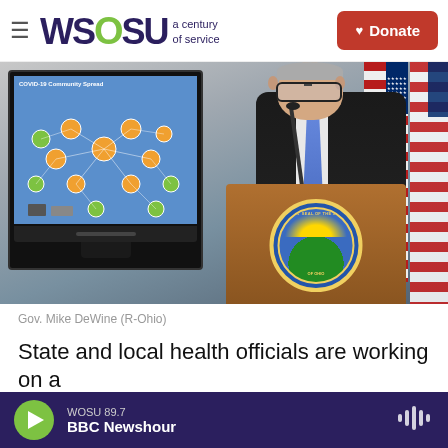WOSU a century of service | Donate
[Figure (photo): Gov. Mike DeWine standing at a podium with the Great Seal of the State of Ohio, with a TV screen showing a COVID-19 Community Spread diagram on the left, and US and Ohio flags in the background.]
Gov. Mike DeWine (R-Ohio)
State and local health officials are working on a
WOSU 89.7  BBC Newshour